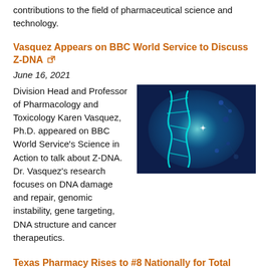contributions to the field of pharmaceutical science and technology.
Vasquez Appears on BBC World Service to Discuss Z-DNA
June 16, 2021
[Figure (photo): Blue-toned artistic image of a DNA double helix glowing with teal/cyan light against a dark blue background with molecular particle effects.]
Division Head and Professor of Pharmacology and Toxicology Karen Vasquez, Ph.D. appeared on BBC World Service's Science in Action to talk about Z-DNA. Dr. Vasquez's research focuses on DNA damage and repair, genomic instability, gene targeting, DNA structure and cancer therapeutics.
Texas Pharmacy Rises to #8 Nationally for Total Research Funding
June 15, 2021
[Figure (infographic): Yellow diagonal banner with large bold dark orange '#8' text indicating ranking.]
The University of Texas at